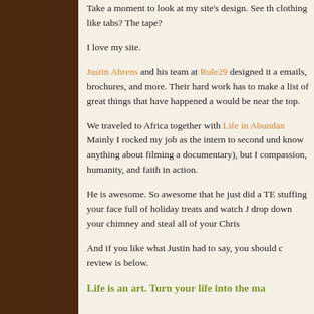Take a moment to look at my site's design. See the clothing like tabs? The tape?
I love my site.
Justin Ahrens and his team at Rule29 designed it and emails, brochures, and more. Their hard work has to make a list of great things that have happened a would be near the top.
We traveled to Africa together with Life in Abundan Mainly I rocked my job as the intern to second und know anything about filming a documentary), but I compassion, humanity, and faith in action.
He is awesome. So awesome that he just did a TE stuffing your face full of holiday treats and watch J drop down your chimney and steal all of your Chris
And if you like what Justin had to say, you should check review is below.
Life is an art. Turn your life into the ma